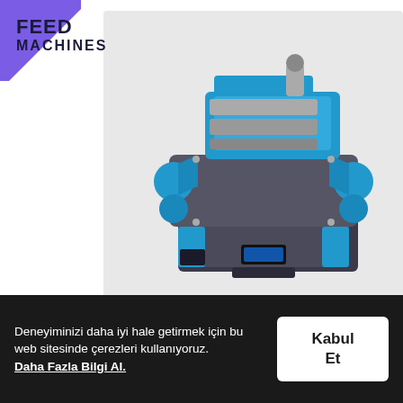FEED
MACHINES
[Figure (photo): 3D rendered industrial feed machine / pellet mill machine in blue and grey colors, shown on a light grey background]
[Figure (photo): Partial bottom product image with green and dark blue circular elements visible]
SPARE
PARTS
Deneyiminizi daha iyi hale getirmek için bu web sitesinde çerezleri kullanıyoruz.
Daha Fazla Bilgi Al.
Kabul Et